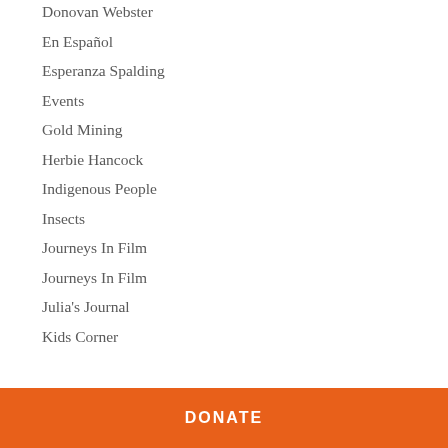Donovan Webster
En Español
Esperanza Spalding
Events
Gold Mining
Herbie Hancock
Indigenous People
Insects
Journeys In Film
Journeys In Film
Julia's Journal
Kids Corner
DONATE